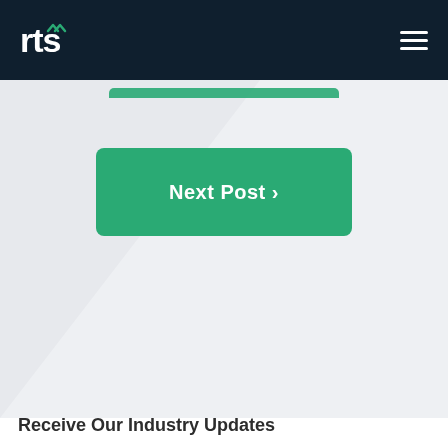rts
[Figure (screenshot): RTS website navigation page showing a 'Next Post >' green button centered on a light grey background with a diagonal design element, and 'Receive Our Industry Updates' text at the bottom]
Next Post >
Receive Our Industry Updates